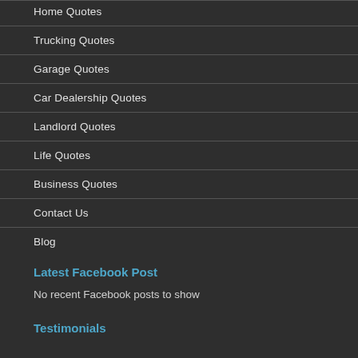Home Quotes
Trucking Quotes
Garage Quotes
Car Dealership Quotes
Landlord Quotes
Life Quotes
Business Quotes
Contact Us
Blog
Latest Facebook Post
No recent Facebook posts to show
Testimonials